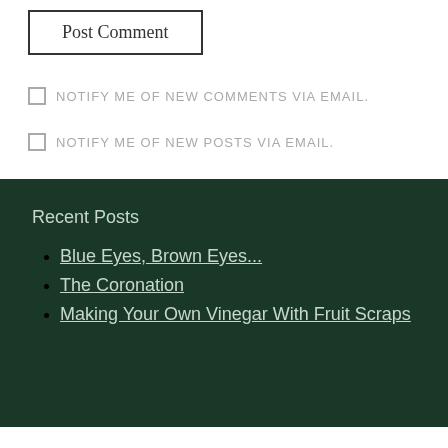Post Comment
NOTIFY ME OF NEW COMMENTS VIA EMAIL.
NOTIFY ME OF NEW POSTS VIA EMAIL.
Recent Posts
Blue Eyes, Brown Eyes...
The Coronation
Making Your Own Vinegar With Fruit Scraps